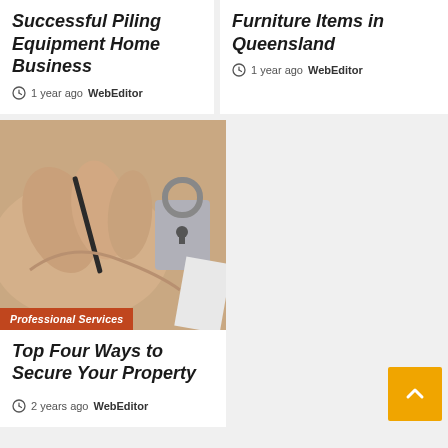Successful Piling Equipment Home Business
1 year ago  WebEditor
Furniture Items in Queensland
1 year ago  WebEditor
[Figure (photo): Close-up photo of a hand using a screwdriver or pick tool on a lock, with an orange label 'Professional Services']
Top Four Ways to Secure Your Property
2 years ago  WebEditor